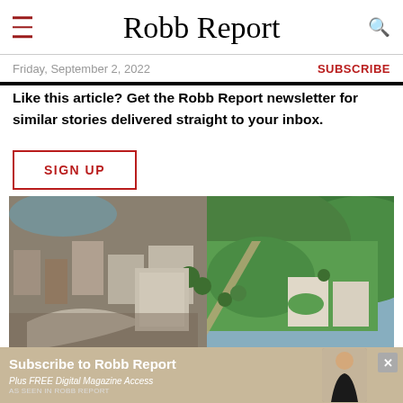Robb Report
Friday, September 2, 2022
SUBSCRIBE
Like this article? Get the Robb Report newsletter for similar stories delivered straight to your inbox.
SIGN UP
[Figure (photo): Aerial view of a city district with buildings, tree-lined streets, and green parkland with hills in the background]
Subscribe to Robb Report Plus FREE Digital Magazine Access